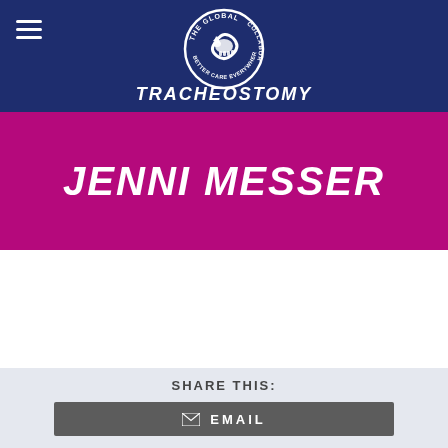The Global Tracheostomy Collaborative — Better Care Everywhere
JENNI MESSER
SHARE THIS:
EMAIL